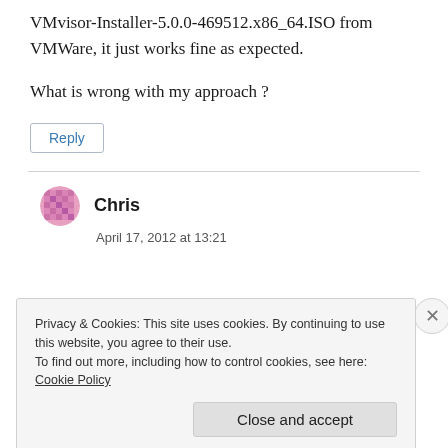VMvisor-Installer-5.0.0-469512.x86_64.ISO from VMWare, it just works fine as expected.
What is wrong with my approach ?
Reply
Chris
April 17, 2012 at 13:21
Privacy & Cookies: This site uses cookies. By continuing to use this website, you agree to their use.
To find out more, including how to control cookies, see here:
Cookie Policy
Close and accept